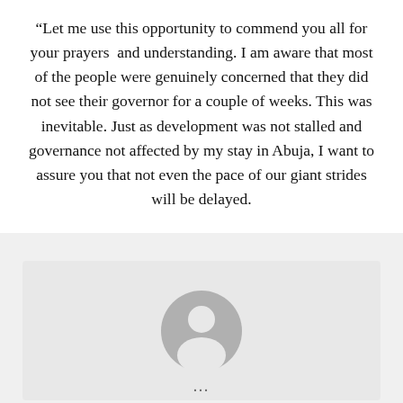“Let me use this opportunity to commend you all for your prayers and understanding. I am aware that most of the people were genuinely concerned that they did not see their governor for a couple of weeks. This was inevitable. Just as development was not stalled and governance not affected by my stay in Abuja, I want to assure you that not even the pace of our giant strides will be delayed.
[Figure (illustration): Default user profile avatar icon — grey circular silhouette of a person on a light grey background]